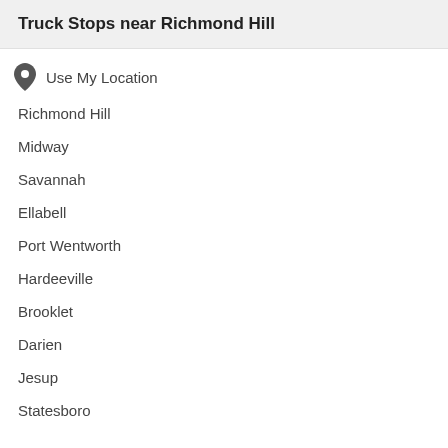Truck Stops near Richmond Hill
Use My Location
Richmond Hill
Midway
Savannah
Ellabell
Port Wentworth
Hardeeville
Brooklet
Darien
Jesup
Statesboro